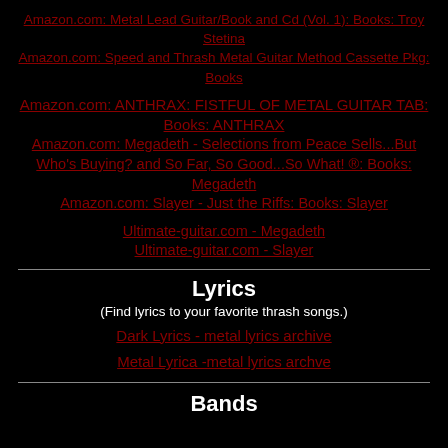Amazon.com: Metal Lead Guitar/Book and Cd (Vol. 1): Books: Troy Stetina
Amazon.com: Speed and Thrash Metal Guitar Method Cassette Pkg: Books
Amazon.com: ANTHRAX: FISTFUL OF METAL GUITAR TAB: Books: ANTHRAX
Amazon.com: Megadeth - Selections from Peace Sells...But Who's Buying? and So Far, So Good...So What! ®: Books: Megadeth
Amazon.com: Slayer - Just the Riffs: Books: Slayer
Ultimate-guitar.com - Megadeth
Ultimate-guitar.com - Slayer
Lyrics
(Find lyrics to your favorite thrash songs.)
Dark Lyrics - metal lyrics archive
Metal Lyrica -metal lyrics archve
Bands